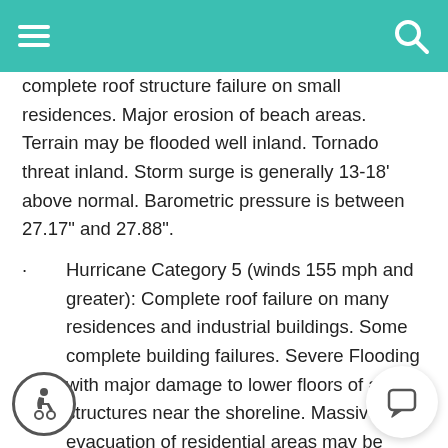complete roof structure failure on small residences. Major erosion of beach areas. Terrain may be flooded well inland. Tornado threat inland. Storm surge is generally 13-18' above normal. Barometric pressure is between 27.17" and 27.88".
Hurricane Category 5 (winds 155 mph and greater): Complete roof failure on many residences and industrial buildings. Some complete building failures. Severe Flooding with major damage to lower floors of all structures near the shoreline. Massive evacuation of residential areas may be required. Storm surge is generally greater than 18' above normal. Barometric pressure is below 27.17".